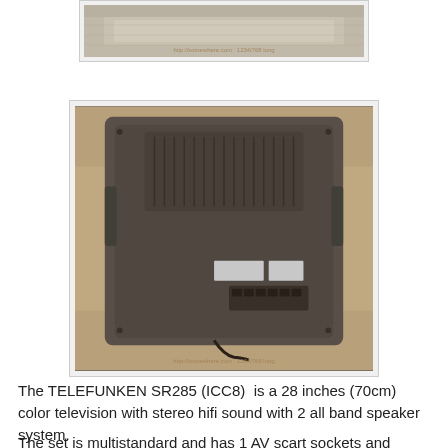[Figure (photo): Partial view of top portion of a gray television set from behind, cropped image with watermark text at bottom]
[Figure (photo): Back view of a TELEFUNKEN SR285 (ICC8) 28-inch color television set showing ventilation grilles, connectors, and labels, placed on a wooden surface]
The TELEFUNKEN SR285 (ICC8)  is a 28 inches (70cm) color television with stereo hifi sound with 2 all band speaker system.
The set is multistandard and has 1 AV scart sockets and